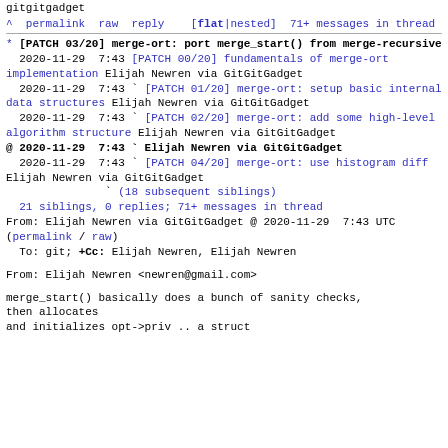gitgitgadget
^ permalink raw reply   [flat|nested] 71+ messages in thread
* [PATCH 03/20] merge-ort: port merge_start() from merge-recursive
  2020-11-29  7:43 [PATCH 00/20] fundamentals of merge-ort implementation Elijah Newren via GitGitGadget
  2020-11-29  7:43 ` [PATCH 01/20] merge-ort: setup basic internal data structures Elijah Newren via GitGitGadget
  2020-11-29  7:43 ` [PATCH 02/20] merge-ort: add some high-level algorithm structure Elijah Newren via GitGitGadget
@ 2020-11-29  7:43 ` Elijah Newren via GitGitGadget
  2020-11-29  7:43 ` [PATCH 04/20] merge-ort: use histogram diff Elijah Newren via GitGitGadget
             ` (18 subsequent siblings)
  21 siblings, 0 replies; 71+ messages in thread
From: Elijah Newren via GitGitGadget @ 2020-11-29  7:43 UTC (permalink / raw)
  To: git; +Cc: Elijah Newren, Elijah Newren

From: Elijah Newren <newren@gmail.com>

merge_start() basically does a bunch of sanity checks, then allocates
and initializes opt->priv .. a struct
From: Elijah Newren <newren@gmail.com>
merge_start() basically does a bunch of sanity checks, then allocates
and initializes opt->priv .. a struct